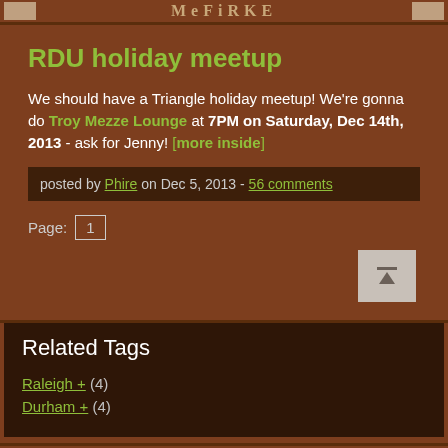MeFiTiKi
RDU holiday meetup
We should have a Triangle holiday meetup! We're gonna do Troy Mezze Lounge at 7PM on Saturday, Dec 14th, 2013 - ask for Jenny! [more inside]
posted by Phire on Dec 5, 2013 - 56 comments
Page: 1
Related Tags
Raleigh + (4)
Durham + (4)